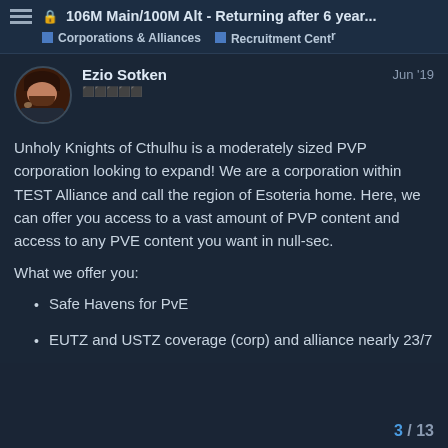106M Main/100M Alt - Returning after 6 year...
Corporations & Alliances   Recruitment Centr
Ezio Sotken   Jun '19
Unholy Knights of Cthulhu is a moderately sized PVP corporation looking to expand! We are a corporation within TEST Alliance and call the region of Esoteria home. Here, we can offer you access to a vast amount of PVP content and access to any PVE content you want in null-sec.
What we offer you:
Safe Havens for PvE
EUTZ and USTZ coverage (corp) and alliance nearly 23/7
3 / 13